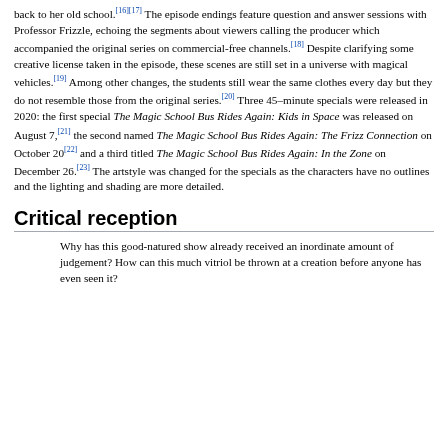back to her old school.[16][17] The episode endings feature question and answer sessions with Professor Frizzle, echoing the segments about viewers calling the producer which accompanied the original series on commercial-free channels.[18] Despite clarifying some creative license taken in the episode, these scenes are still set in a universe with magical vehicles.[19] Among other changes, the students still wear the same clothes every day but they do not resemble those from the original series.[20] Three 45–minute specials were released in 2020: the first special The Magic School Bus Rides Again: Kids in Space was released on August 7,[21] the second named The Magic School Bus Rides Again: The Frizz Connection on October 20[22] and a third titled The Magic School Bus Rides Again: In the Zone on December 26.[23] The artstyle was changed for the specials as the characters have no outlines and the lighting and shading are more detailed.
Critical reception
Why has this good-natured show already received an inordinate amount of judgement? How can this much vitriol be thrown at a creation before anyone has even seen it?